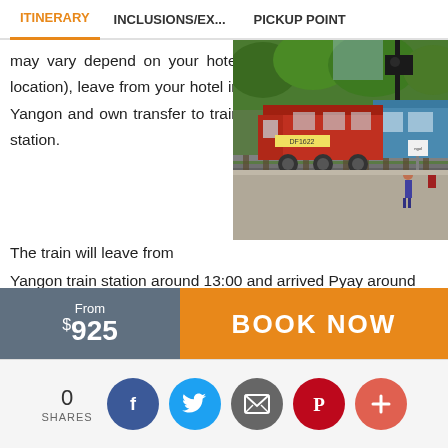ITINERARY | INCLUSIONS/EX... | PICKUP POINT
may vary depend on your hotel location), leave from your hotel in Yangon and own transfer to train station. The train will leave from Yangon train station around 13:00 and arrived Pyay around 21:30
[Figure (photo): A red locomotive train (DF1622) at a railway station platform with blue carriages and green trees in the background. A person is standing on the platform.]
Upon arrival at the Pyay train station, walk from the train
From $925 BOOK NOW
0 SHARES